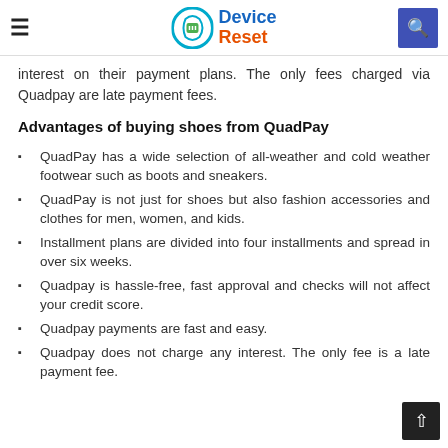Device Reset
interest on their payment plans. The only fees charged via Quadpay are late payment fees.
Advantages of buying shoes from QuadPay
QuadPay has a wide selection of all-weather and cold weather footwear such as boots and sneakers.
QuadPay is not just for shoes but also fashion accessories and clothes for men, women, and kids.
Installment plans are divided into four installments and spread in over six weeks.
Quadpay is hassle-free, fast approval and checks will not affect your credit score.
Quadpay payments are fast and easy.
Quadpay does not charge any interest. The only fee is a late payment fee.